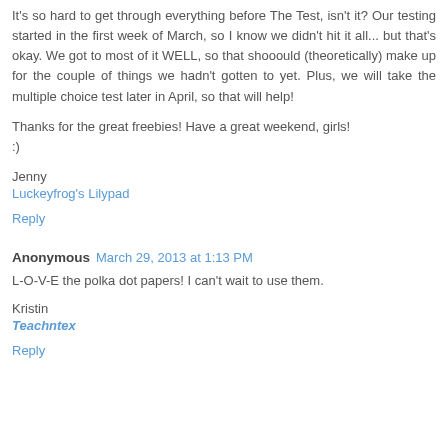It's so hard to get through everything before The Test, isn't it? Our testing started in the first week of March, so I know we didn't hit it all... but that's okay. We got to most of it WELL, so that shooould (theoretically) make up for the couple of things we hadn't gotten to yet. Plus, we will take the multiple choice test later in April, so that will help!
Thanks for the great freebies! Have a great weekend, girls! :)
Jenny
Luckeyfrog's Lilypad
Reply
Anonymous March 29, 2013 at 1:13 PM
L-O-V-E the polka dot papers! I can't wait to use them.
Kristin
Teachntex
Reply